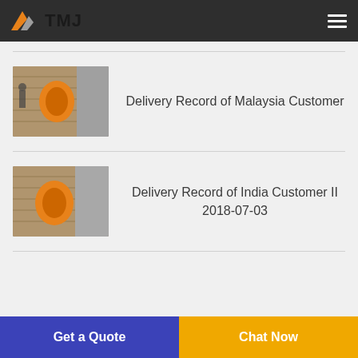TMJ
[Figure (photo): Photo of industrial machinery (orange cone/fan component) being loaded in a shipping container]
Delivery Record of Malaysia Customer
[Figure (photo): Photo of industrial machinery (orange cone/fan component) being loaded in a shipping container]
Delivery Record of India Customer II 2018-07-03
Get a Quote
Chat Now